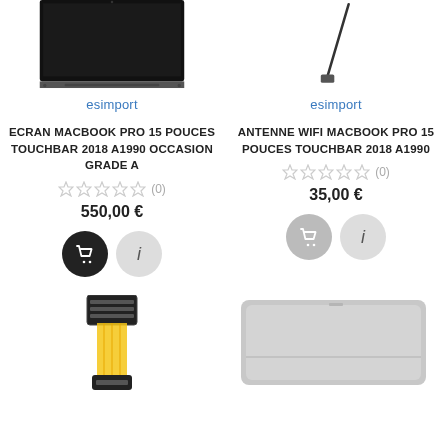[Figure (photo): MacBook Pro 15 screen product image with esimport watermark]
[Figure (photo): WiFi antenna for MacBook Pro 15 with esimport watermark]
ECRAN MACBOOK PRO 15 POUCES TOUCHBAR 2018 A1990 OCCASION GRADE A
ANTENNE WIFI MACBOOK PRO 15 POUCES TOUCHBAR 2018 A1990
(0) 550,00 €
(0) 35,00 €
[Figure (photo): Cable/connector component for MacBook Pro]
[Figure (photo): Trackpad/touchpad for MacBook Pro, silver colored]